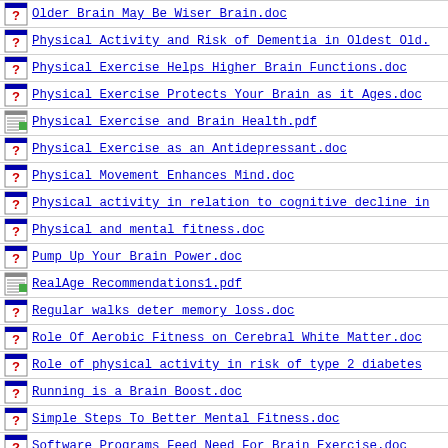Older Brain May Be Wiser Brain.doc
Physical Activity and Risk of Dementia in Oldest Old.
Physical Exercise Helps Higher Brain Functions.doc
Physical Exercise Protects Your Brain as it Ages.doc
Physical Exercise and Brain Health.pdf
Physical Exercise as an Antidepressant.doc
Physical Movement Enhances Mind.doc
Physical activity in relation to cognitive decline in
Physical and mental fitness.doc
Pump Up Your Brain Power.doc
RealAge Recommendations1.pdf
Regular walks deter memory loss.doc
Role Of Aerobic Fitness on Cerebral White Matter.doc
Role of physical activity in risk of type 2 diabetes
Running is a Brain Boost.doc
Simple Steps To Better Mental Fitness.doc
Software Programs Feed Need For Brain Exercise.doc